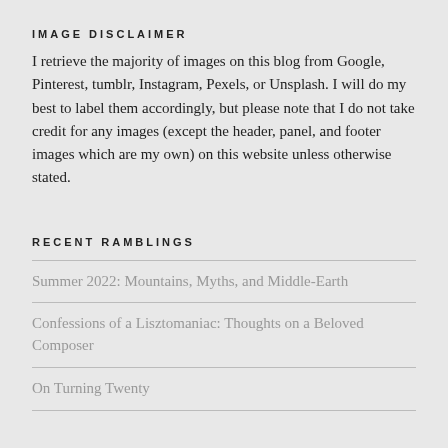IMAGE DISCLAIMER
I retrieve the majority of images on this blog from Google, Pinterest, tumblr, Instagram, Pexels, or Unsplash. I will do my best to label them accordingly, but please note that I do not take credit for any images (except the header, panel, and footer images which are my own) on this website unless otherwise stated.
RECENT RAMBLINGS
Summer 2022: Mountains, Myths, and Middle-Earth
Confessions of a Lisztomaniac: Thoughts on a Beloved Composer
On Turning Twenty
ATTEMPTS AT SOCIABILITY